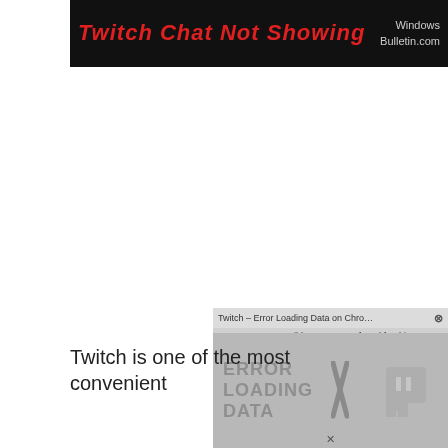[Figure (screenshot): Black banner header with red italic bold text 'Twitch Chat Not Showing' and 'WindowsBulletin.com' text on the right side]
[Figure (screenshot): Video player overlay showing 'Twitch - Error Loading Data on Chro...' in the tab bar, with 'No compatible source was found for this media.' message, and large text ERROR LOADING DATA with an X symbol, and Twitch logo on the right]
Twitch is one of the most convenient